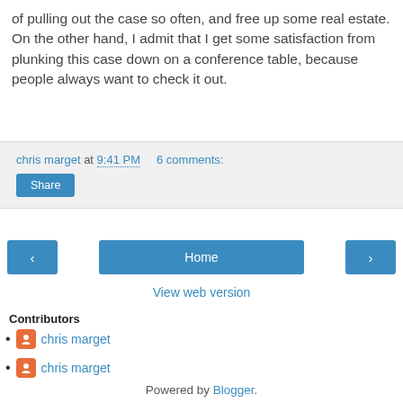of pulling out the case so often, and free up some real estate. On the other hand, I admit that I get some satisfaction from plunking this case down on a conference table, because people always want to check it out.
chris marget at 9:41 PM   6 comments:
Share
Home
View web version
Contributors
chris marget
chris marget
Powered by Blogger.